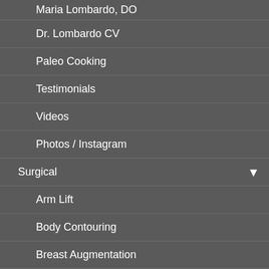Maria Lombardo, DO
Dr. Lombardo CV
Paleo Cooking
Testimonials
Videos
Photos / Instagram
Surgical
Arm Lift
Body Contouring
Breast Augmentation
Breast Implant Removal
Breast Reduction